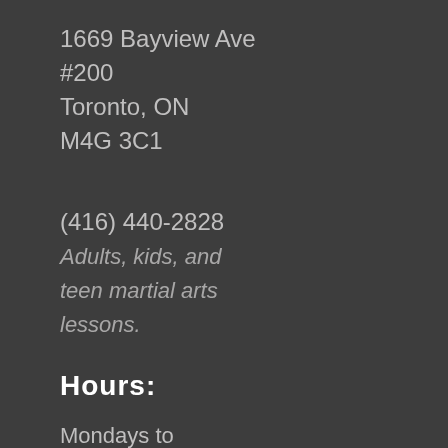1669 Bayview Ave
#200
Toronto, ON
M4G 3C1
(416) 440-2828
Adults, kids, and teen martial arts lessons.
Hours:
Mondays to Thursday: 12:00pm - 10:00pm